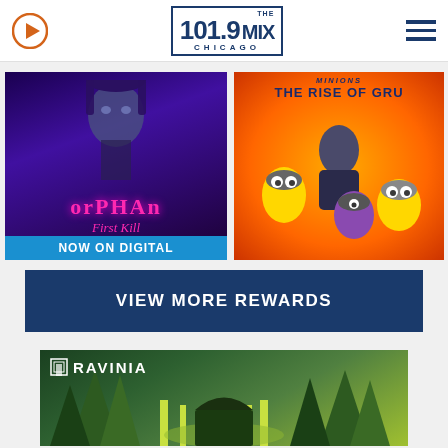101.9 THE MIX CHICAGO
[Figure (photo): Orphan First Kill movie poster — dark purple/blue background with female figure, text 'ORPHAN First Kill' in pink, 'NOW ON DIGITAL' banner in blue at bottom]
[Figure (photo): Minions: The Rise of Gru movie poster — animated characters on orange/red swirling background with text 'THE RISE OF GRU' at top]
VIEW MORE REWARDS
[Figure (illustration): Ravinia Festival promotional illustration — green stylized outdoor venue artwork with Ravinia logo in white text]